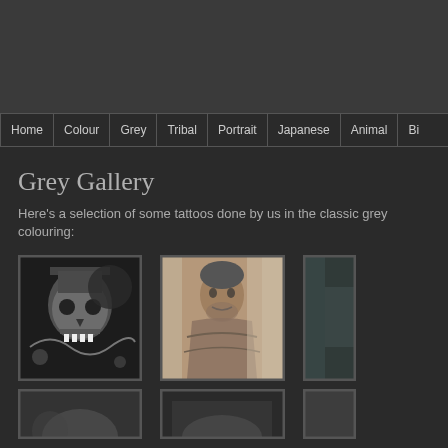Home | Colour | Grey | Tribal | Portrait | Japanese | Animal | Bi...
Grey Gallery
Here's a selection of some tattoos done by us in the classic grey colouring:
[Figure (photo): Black and grey skull with top hat tattoo on shoulder/upper arm]
[Figure (photo): Black and grey portrait tattoo of a person on forearm]
[Figure (photo): Partially visible grey tattoo (cropped at right edge)]
[Figure (photo): Bottom row: partial grey tattoo image 1 (cropped at bottom)]
[Figure (photo): Bottom row: partial grey tattoo image 2 (cropped at bottom)]
[Figure (photo): Bottom row: partial grey tattoo image 3 (cropped at bottom and right)]